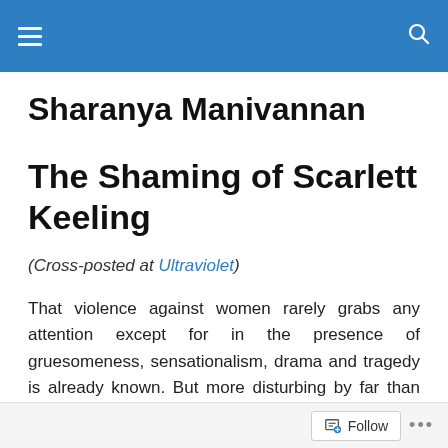Sharanya Manivannan [blog header navigation]
Sharanya Manivannan
The Shaming of Scarlett Keeling
(Cross-posted at Ultraviolet)
That violence against women rarely grabs any attention except for in the presence of gruesomeness, sensationalism, drama and tragedy is already known. But more disturbing by far than the fact that the murder of a
Follow ...